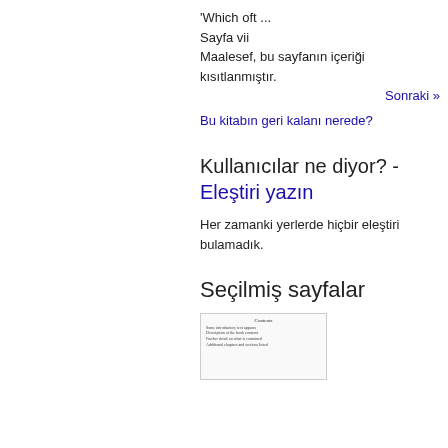'Which oft ...
Sayfa vii
Maalesef, bu sayfanın içeriği kısıtlanmıştır.
Sonraki »
Bu kitabın geri kalanı nerede?
Kullanıcılar ne diyor? - Eleştiri yazın
Her zamanki yerlerde hiçbir eleştiri bulamadık.
Seçilmiş sayfalar
[Figure (screenshot): Thumbnail of a book page showing Contents]